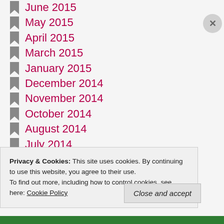June 2015
May 2015
April 2015
March 2015
January 2015
December 2014
November 2014
October 2014
August 2014
July 2014
June 2014
April 2014
March 2014
Privacy & Cookies: This site uses cookies. By continuing to use this website, you agree to their use. To find out more, including how to control cookies, see here: Cookie Policy
Close and accept